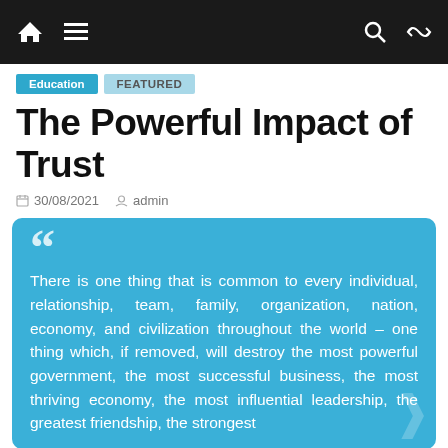Navigation bar with home, menu, search, and shuffle icons
Education   FEATURED
The Powerful Impact of Trust
30/08/2021   admin
There is one thing that is common to every individual, relationship, team, family, organization, nation, economy, and civilization throughout the world – one thing which, if removed, will destroy the most powerful government, the most successful business, the most thriving economy, the most influential leadership, the greatest friendship, the strongest